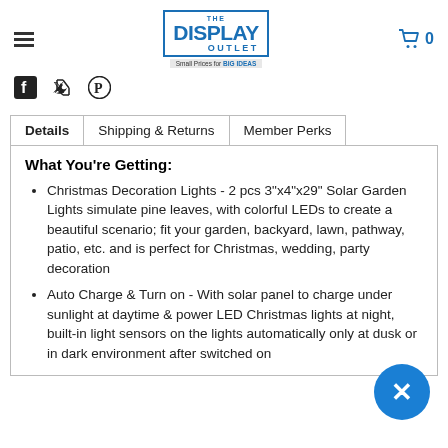The Display Outlet - Small Prices for BIG IDEAS
Social share icons: Facebook, Twitter, Pinterest
Tabs: Details | Shipping & Returns | Member Perks
What You're Getting:
Christmas Decoration Lights - 2 pcs 3"x4"x29" Solar Garden Lights simulate pine leaves, with colorful LEDs to create a beautiful scenario; fit your garden, backyard, lawn, pathway, patio, etc. and is perfect for Christmas, wedding, party decoration
Auto Charge & Turn on - With solar panel to charge under sunlight at daytime & power LED Christmas lights at night, built-in light sensors on the lights automatically only at dusk or in dark environment after switched on